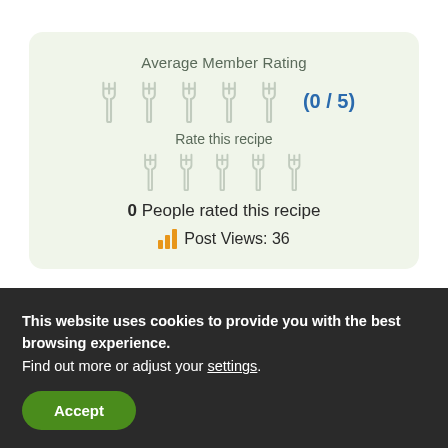[Figure (infographic): Rating widget showing Average Member Rating with 5 fork icons and score (0/5), Rate this recipe section with 5 fork icons, 0 People rated this recipe text, and Post Views: 36 with bar chart icon]
Average Member Rating
(0 / 5)
Rate this recipe
0 People rated this recipe
Post Views: 36
This website uses cookies to provide you with the best browsing experience.
Find out more or adjust your settings.
Accept